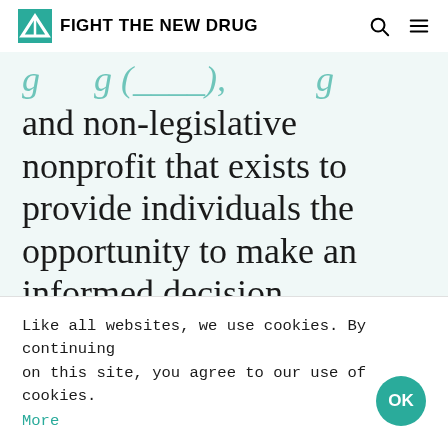FIGHT THE NEW DRUG
and non-legislative nonprofit that exists to provide individuals the opportunity to make an informed decision regarding pornography by raising awareness on its harmful effects using only science, facts, and personal accounts.
THE ISSUE
Decades of studies from respected institutions have demonstrated significant impacts of porn
Like all websites, we use cookies. By continuing on this site, you agree to our use of cookies. More